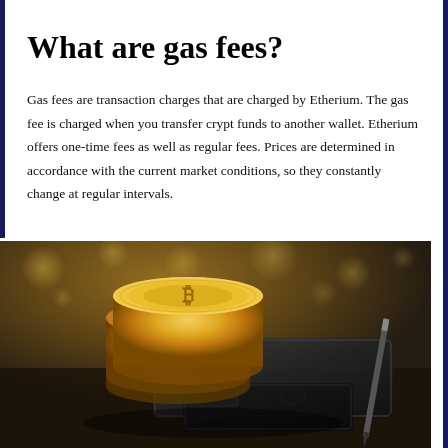What are gas fees?
Gas fees are transaction charges that are charged by Etherium. The gas fee is charged when you transfer crypt funds to another wallet. Etherium offers one-time fees as well as regular fees. Prices are determined in accordance with the current market conditions, so they constantly change at regular intervals.
[Figure (photo): Stack of gold Bitcoin cryptocurrency coins leaning against a dark leather wallet with a credit card and pen on a textured surface, with golden bokeh background]